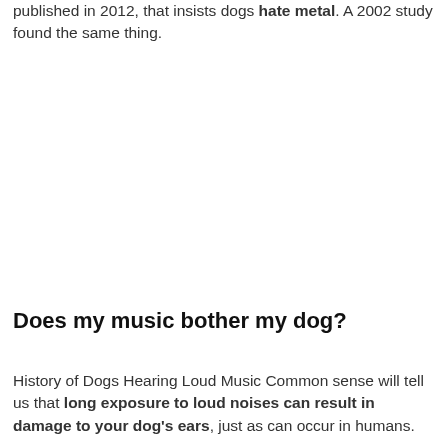published in 2012, that insists dogs hate metal. A 2002 study found the same thing.
Does my music bother my dog?
History of Dogs Hearing Loud Music Common sense will tell us that long exposure to loud noises can result in damage to your dog's ears, just as can occur in humans.